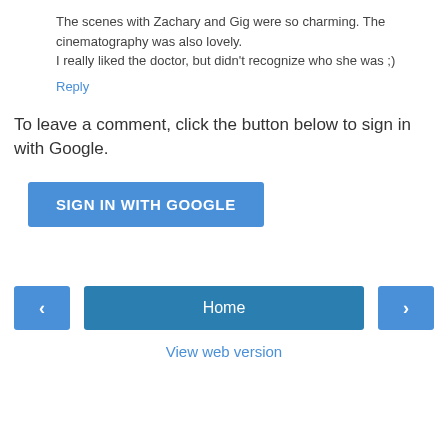The scenes with Zachary and Gig were so charming. The cinematography was also lovely.
I really liked the doctor, but didn't recognize who she was ;)
Reply
To leave a comment, click the button below to sign in with Google.
[Figure (other): Blue 'SIGN IN WITH GOOGLE' button]
[Figure (other): Navigation bar with left arrow button, Home button, and right arrow button]
View web version